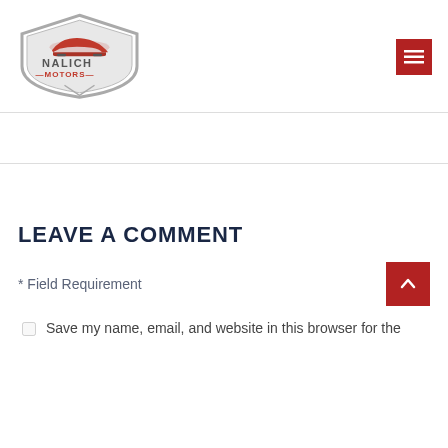[Figure (logo): Nalich Motors logo — a red sports car silhouette inside a shield shape, with 'NALICH' in grey block letters and 'MOTORS' in red with dashes on either side]
LEAVE A COMMENT
* Field Requirement
Save my name, email, and website in this browser for the